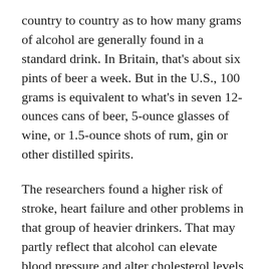country to country as to how many grams of alcohol are generally found in a standard drink. In Britain, that's about six pints of beer a week. But in the U.S., 100 grams is equivalent to what's in seven 12-ounces cans of beer, 5-ounce glasses of wine, or 1.5-ounce shots of rum, gin or other distilled spirits.
The researchers found a higher risk of stroke, heart failure and other problems in that group of heavier drinkers. That may partly reflect that alcohol can elevate blood pressure and alter cholesterol levels, the researchers said.
Notably, the heavier drinkers were less likely to have a heart attack. But balanced against the increased risk of a stroke and other heart problems, the impact of drinking more than seven drinks a week is more bad